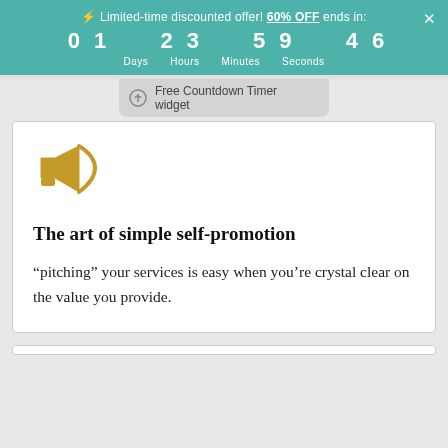⚡ Limited-time discounted offer! 60% OFF ends in: 01 23 59 46 Days Hours Minutes Seconds
Free Countdown Timer widget
[Figure (illustration): Gold megaphone / bullhorn icon]
The art of simple self-promotion
“pitching” your services is easy when you’re crystal clear on the value you provide.